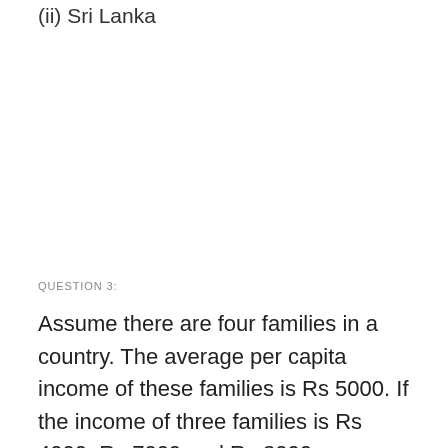(ii) Sri Lanka
QUESTION 3:
Assume there are four families in a country. The average per capita income of these families is Rs 5000. If the income of three families is Rs 4000, Rs 7000 and Rs 3000 respectively, what is the income of the fourth family?